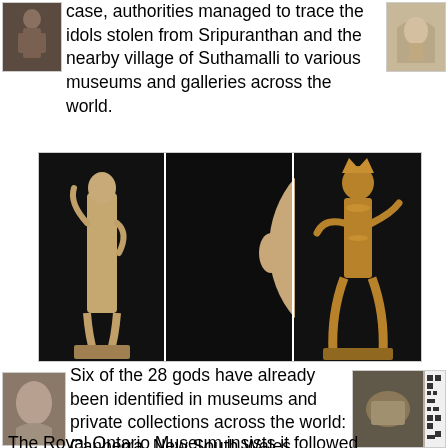case, authorities managed to trace the idols stolen from Sripuranthan and the nearby village of Suthamalli to various museums and galleries across the world.
[Figure (photo): Three ancient sculptures side by side against dark background: left panel shows a standing female yakshi figure in stone, center panel shows a close-up of a Buddha head with curled hair, right panel shows a standing bronze goddess figure.]
Six of the 28 gods have already been identified in museums and private collections across the world: Canberra, New South Wales, Chicago, Ohio to Singapore. The Australian government has ordered NGA to remove the Nataraja from display.
The Royal Ontario Museum insists it followed